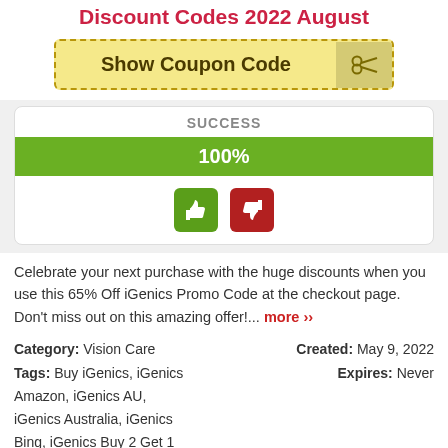Discount Codes 2022 August
[Figure (other): Show Coupon Code button with scissors icon, dashed golden border and yellow background]
[Figure (infographic): SUCCESS box with 100% green progress bar and thumbs up/thumbs down vote buttons]
Celebrate your next purchase with the huge discounts when you use this 65% Off iGenics Promo Code at the checkout page. Don't miss out on this amazing offer!... more ›
Category: Vision Care   Created: May 9, 2022
Tags: Buy iGenics, iGenics Amazon, iGenics AU, iGenics Australia, iGenics Bing, iGenics Buy 2 Get 1 Free, iGenics CA, iGenics Canada, iGenics Cost, iGenics Coupon Code,   Expires: Never